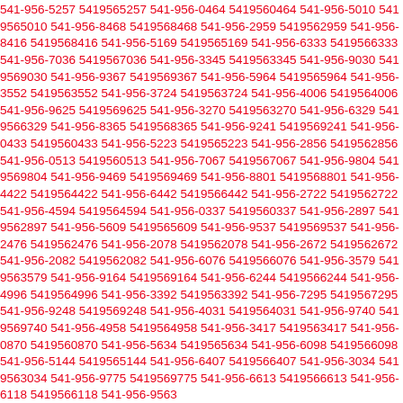541-956-5257 5419565257 541-956-0464 5419560464 541-956-5010 5419565010 541-956-8468 5419568468 541-956-2959 5419562959 541-956-8416 5419568416 541-956-5169 5419565169 541-956-6333 5419566333 541-956-7036 5419567036 541-956-3345 5419563345 541-956-9030 5419569030 541-956-9367 5419569367 541-956-5964 5419565964 541-956-3552 5419563552 541-956-3724 5419563724 541-956-4006 5419564006 541-956-9625 5419569625 541-956-3270 5419563270 541-956-6329 5419566329 541-956-8365 5419568365 541-956-9241 5419569241 541-956-0433 5419560433 541-956-5223 5419565223 541-956-2856 5419562856 541-956-0513 5419560513 541-956-7067 5419567067 541-956-9804 5419569804 541-956-9469 5419569469 541-956-8801 5419568801 541-956-4422 5419564422 541-956-6442 5419566442 541-956-2722 5419562722 541-956-4594 5419564594 541-956-0337 5419560337 541-956-2897 5419562897 541-956-5609 5419565609 541-956-9537 5419569537 541-956-2476 5419562476 541-956-2078 5419562078 541-956-2672 5419562672 541-956-2082 5419562082 541-956-6076 5419566076 541-956-3579 5419563579 541-956-9164 5419569164 541-956-6244 5419566244 541-956-4996 5419564996 541-956-3392 5419563392 541-956-7295 5419567295 541-956-9248 5419569248 541-956-4031 5419564031 541-956-9740 5419569740 541-956-4958 5419564958 541-956-3417 5419563417 541-956-0870 5419560870 541-956-5634 5419565634 541-956-6098 5419566098 541-956-5144 5419565144 541-956-6407 5419566407 541-956-3034 5419563034 541-956-9775 5419569775 541-956-6613 5419566613 541-956-6118 5419566118 541-956-9563